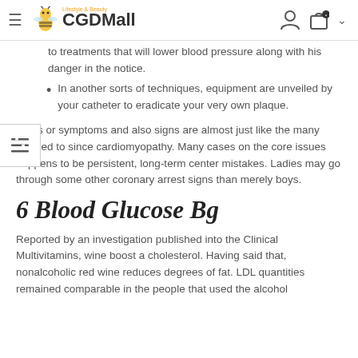CGDMall
to treatments that will lower blood pressure along with his danger in the notice.
In another sorts of techniques, equipment are unveiled by your catheter to eradicate your very own plaque.
Signs or symptoms and also signs are almost just like the many listened to since cardiomyopathy. Many cases on the core issues happens to be persistent, long-term center mistakes. Ladies may go through some other coronary arrest signs than merely boys.
6 Blood Glucose Bg
Reported by an investigation published into the Clinical Multivitamins, wine boost a cholesterol. Having said that, nonalcoholic red wine reduces degrees of fat. LDL quantities remained comparable in the people that used the alcohol